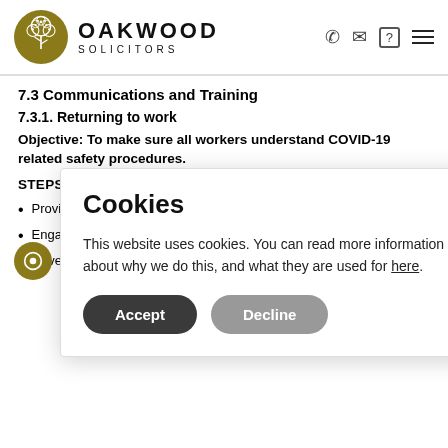Oakwood Solicitors
7.3 Communications and Training
7.3.1. Returning to work
Objective: To make sure all workers understand COVID-19 related safety procedures.
STEPS THAT WILL USUALLY NEED TO BE TAKEN
Providing clear, consistent and regular communication to improve u...
Engaging with existing co... changes i...
Developing workers p... procedure... prominent...
Cookies — This website uses cookies. You can read more information about why we do this, and what they are used for here.